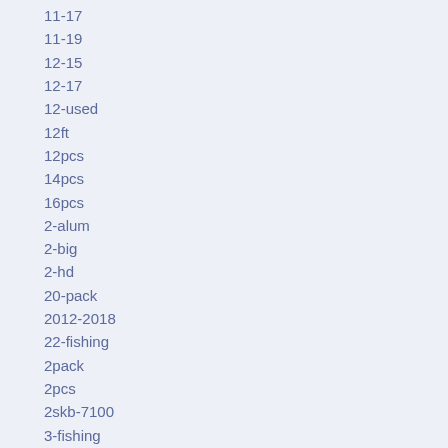11-17
11-19
12-15
12-17
12-used
12ft
12pcs
14pcs
16pcs
2-alum
2-big
2-hd
20-pack
2012-2018
22-fishing
2pack
2pcs
2skb-7100
3-fishing
30cm
30wide
33wide
36wide
38wide
4-tube
4pack
4pcs
5-and